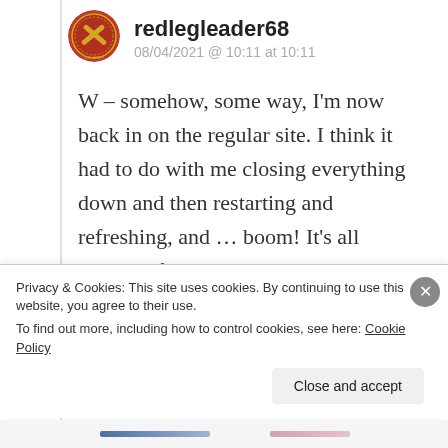[Figure (illustration): Round red military badge/avatar for user redlegleader68, showing crossed cannons (Field Artillery, U.S. Army) in gold on red background]
redlegleader68
08/04/2021 @ 10:11 at 10:11
W – somehow, some way, I’m now back in on the regular site. I think it had to do with me closing everything down and then restarting and refreshing, and … boom! It’s all working fine now.

As many have said, thank you so very
Privacy & Cookies: This site uses cookies. By continuing to use this website, you agree to their use.
To find out more, including how to control cookies, see here: Cookie Policy
Close and accept